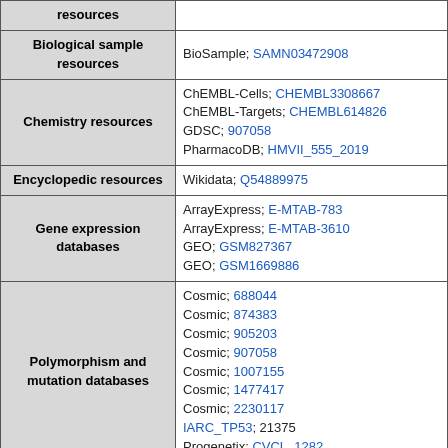| Resource category | Resources |
| --- | --- |
| resources |  |
| Biological sample resources | BioSample; SAMN03472908 |
| Chemistry resources | ChEMBL-Cells; CHEMBL3308667
ChEMBL-Targets; CHEMBL614826
GDSC; 907058
PharmacoDB; HMVII_555_2019 |
| Encyclopedic resources | Wikidata; Q54889975 |
| Gene expression databases | ArrayExpress; E-MTAB-783
ArrayExpress; E-MTAB-3610
GEO; GSM827367
GEO; GSM1669886 |
| Polymorphism and mutation databases | Cosmic; 688044
Cosmic; 874383
Cosmic; 905203
Cosmic; 907058
Cosmic; 1007155
Cosmic; 1477417
Cosmic; 2230117
IARC_TP53; 21375
Progenetix; CVCL_1282 |
| Sequence databases | EGA; EGAS00001000978 |